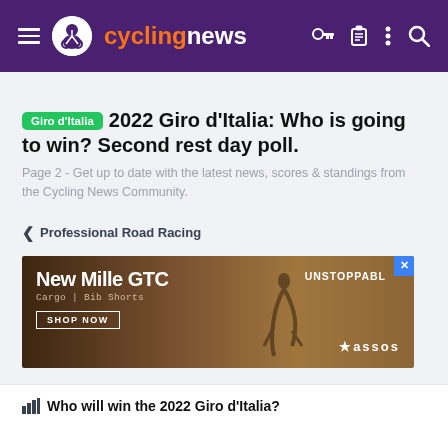cyclingnews — navigation bar
2022 Giro d'Italia: Who is going to win? Second rest day poll.
Page 2 - Get up to date with the latest news, scores & standings from the Cycling News Community.
< Professional Road Racing
[Figure (photo): Advertisement banner for New Mille GTC Cargo Bib Shorts by Assos, with text 'UNSTOPPABLE' and a 'SHOP NOW' button, brown outdoor cycling background]
Who will win the 2022 Giro d'Italia?